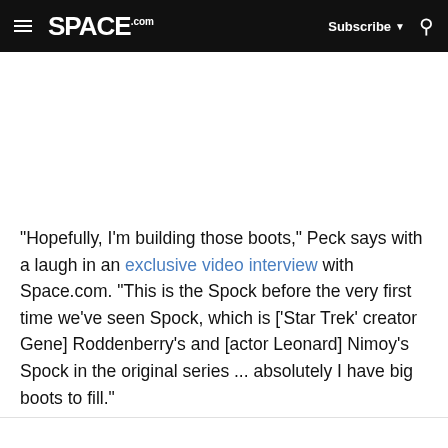SPACE.com — Subscribe — Search
"Hopefully, I'm building those boots," Peck says with a laugh in an exclusive video interview with Space.com. "This is the Spock before the very first time we've seen Spock, which is ['Star Trek' creator Gene] Roddenberry's and [actor Leonard] Nimoy's Spock in the original series ... absolutely I have big boots to fill."